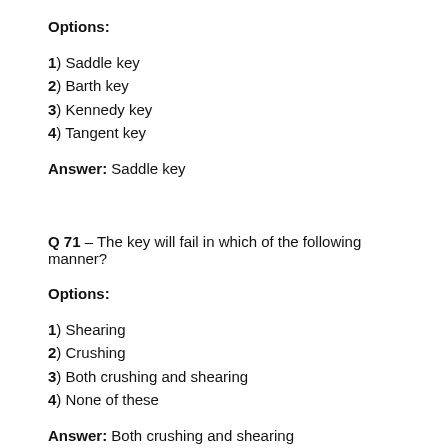Options:
1) Saddle key
2) Barth key
3) Kennedy key
4) Tangent key
Answer: Saddle key
Q 71 – The key will fail in which of the following manner?
Options:
1) Shearing
2) Crushing
3) Both crushing and shearing
4) None of these
Answer: Both crushing and shearing